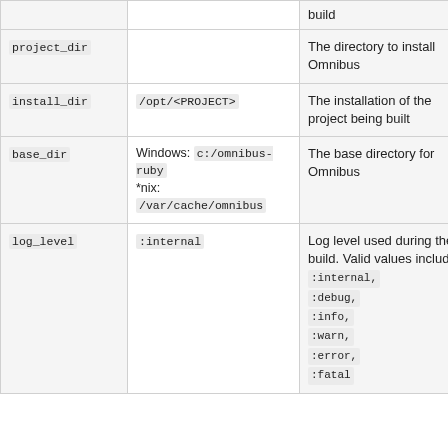| Key | Default | Description |
| --- | --- | --- |
| project_dir |  | The directory to install Omnibus |
| install_dir | /opt/<PROJECT> | The installation of the project being built |
| base_dir | Windows: c:/omnibus-ruby
*nix: /var/cache/omnibus | The base directory for Omnibus |
| log_level | :internal | Log level used during the build. Valid values include: :internal, :debug, :info, :warn, :error, :fatal |